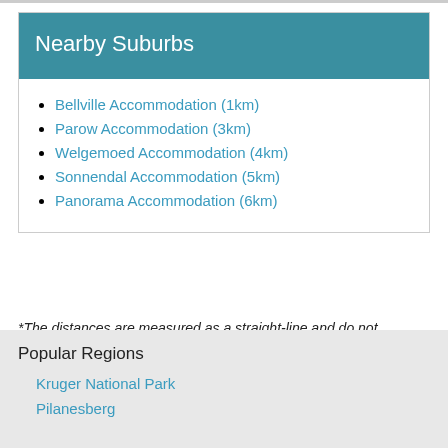Nearby Suburbs
Bellville Accommodation (1km)
Parow Accommodation (3km)
Welgemoed Accommodation (4km)
Sonnendal Accommodation (5km)
Panorama Accommodation (6km)
*The distances are measured as a straight-line and do not necessarily reflect the actual travelling distance.
Popular Regions
Kruger National Park
Pilanesberg